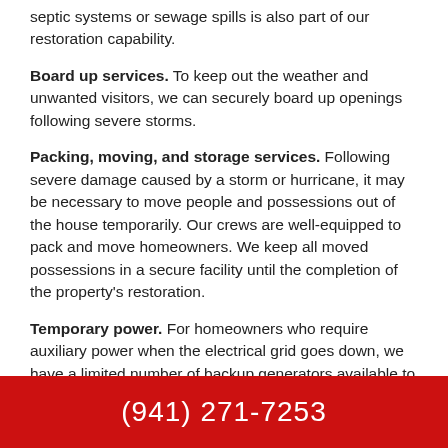septic systems or sewage spills is also part of our restoration capability.
Board up services. To keep out the weather and unwanted visitors, we can securely board up openings following severe storms.
Packing, moving, and storage services. Following severe damage caused by a storm or hurricane, it may be necessary to move people and possessions out of the house temporarily. Our crews are well-equipped to pack and move homeowners. We keep all moved possessions in a secure facility until the completion of the property's restoration.
Temporary power. For homeowners who require auxiliary power when the electrical grid goes down, we have a limited number of backup generators available to maintain limited electrical service.
(941) 271-7253